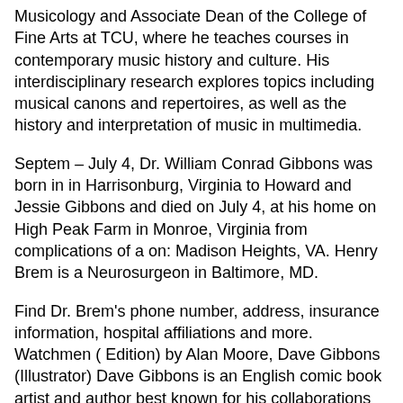Musicology and Associate Dean of the College of Fine Arts at TCU, where he teaches courses in contemporary music history and culture. His interdisciplinary research explores topics including musical canons and repertoires, as well as the history and interpretation of music in multimedia.
Septem – July 4, Dr. William Conrad Gibbons was born in in Harrisonburg, Virginia to Howard and Jessie Gibbons and died on July 4, at his home on High Peak Farm in Monroe, Virginia from complications of a on: Madison Heights, VA. Henry Brem is a Neurosurgeon in Baltimore, MD.
Find Dr. Brem's phone number, address, insurance information, hospital affiliations and more. Watchmen ( Edition) by Alan Moore, Dave Gibbons (Illustrator) Dave Gibbons is an English comic book artist and author best known for his collaborations with writer Alan Allan Quatermain, Mina Murray, Captain Nemo, Dr.
Henry Jekyll and Edward Hyde, and Hawley Griffin, the Invisible Man unite to defeat a View Product/5(). Overview. Henry E Miles, OD, is an Optometry specialist in Pal thor, Florida